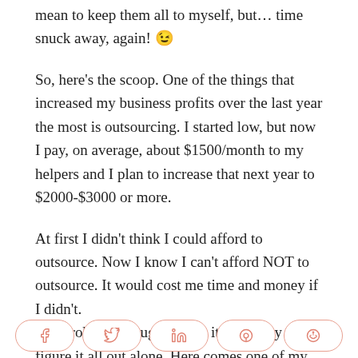mean to keep them all to myself, but… time snuck away, again! 😉
So, here's the scoop. One of the things that increased my business profits over the last year the most is outsourcing. I started low, but now I pay, on average, about $1500/month to my helpers and I plan to increase that next year to $2000-$3000 or more.
At first I didn't think I could afford to outsource. Now I know I can't afford NOT to outsource. It would cost me time and money if I didn't.
The problem, though, is that it's not easy to figure it all out alone. Here comes one of my standard
[Figure (other): Social share buttons: Facebook, Twitter, LinkedIn, Pinterest, Reddit]